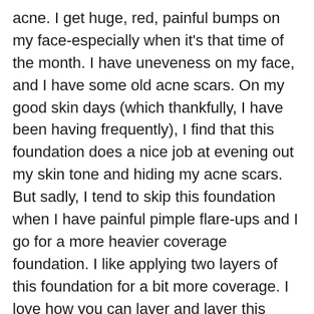acne. I get huge, red, painful bumps on my face-especially when it's that time of the month. I have uneveness on my face, and I have some old acne scars. On my good skin days (which thankfully, I have been having frequently), I find that this foundation does a nice job at evening out my skin tone and hiding my acne scars. But sadly, I tend to skip this foundation when I have painful pimple flare-ups and I go for a more heavier coverage foundation. I like applying two layers of this foundation for a bit more coverage. I love how you can layer and layer this foundation on, and your skin won't look cakey one bit!
Lasting power is OK-but not the best. I have pretty oily skin, and It's about 3-4 hours before I start to get a bit oily on my T-Zone area. I make sure to carry a powder with me for mid-day touch ups. That seems to do the job.